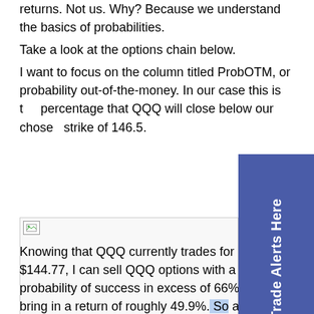returns. Not us. Why? Because we understand the basics of probabilities.
Take a look at the options chain below.
I want to focus on the column titled ProbOTM, or probability out-of-the-money. In our case this is the percentage that QQQ will close below our chosen strike of 146.5.
[Figure (other): Options chain image placeholder with broken image icon]
Knowing that QQQ currently trades for roughly $144.77, I can sell QQQ options with a probability of success in excess of 66% and bring in a return of roughly 49.9%. So again, if the underlying ETF, in this case, QQQ, stays our